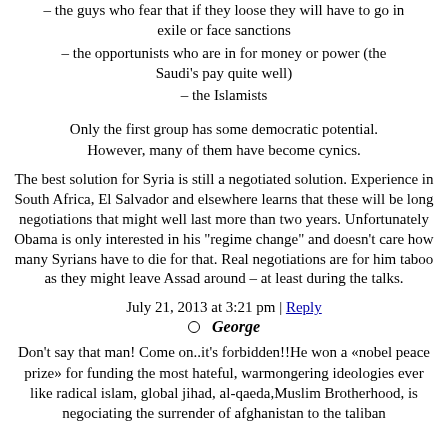– the guys who fear that if they loose they will have to go in exile or face sanctions
– the opportunists who are in for money or power (the Saudi's pay quite well)
– the Islamists
Only the first group has some democratic potential. However, many of them have become cynics.
The best solution for Syria is still a negotiated solution. Experience in South Africa, El Salvador and elsewhere learns that these will be long negotiations that might well last more than two years. Unfortunately Obama is only interested in his "regime change" and doesn't care how many Syrians have to die for that. Real negotiations are for him taboo as they might leave Assad around – at least during the talks.
July 21, 2013 at 3:21 pm | Reply
George
Don't say that man! Come on..it's forbidden!!He won a «nobel peace prize» for funding the most hateful, warmongering ideologies ever like radical islam, global jihad, al-qaeda,Muslim Brotherhood, is negociating the surrender of afghanistan to the taliban